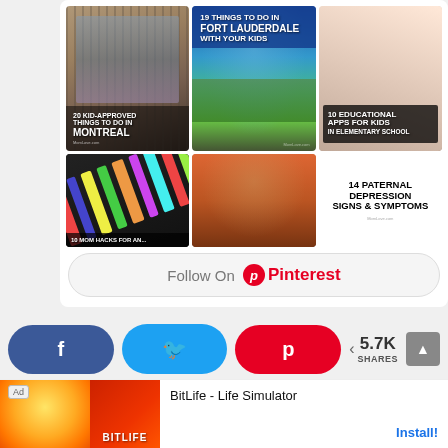[Figure (screenshot): Pinterest widget showing 6 pinned images in a 3x2 grid: Montreal street scene, Fort Lauderdale aerial view, girl with tablet, colored pencils, dad with child, and paternal depression text card. Below grid is a Follow On Pinterest button.]
[Figure (infographic): Social share bar with Facebook (f), Twitter (bird), and Pinterest (P) buttons, plus share count showing 5.7K SHARES with share icon]
[Figure (screenshot): Ad bar at bottom: BitLife - Life Simulator app advertisement with Install button]